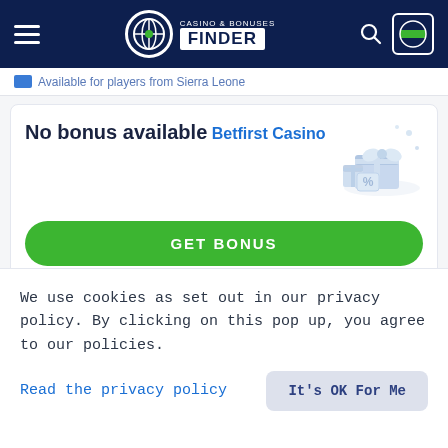Casino & Bonuses Finder
Available for players from Sierra Leone
No bonus available
Betfirst Casino
GET BONUS
REVIEW
| Bonus Code |
| --- |
| Not Required |
18+, new players only
We use cookies as set out in our privacy policy. By clicking on this pop up, you agree to our policies.
Read the privacy policy
It's OK For Me